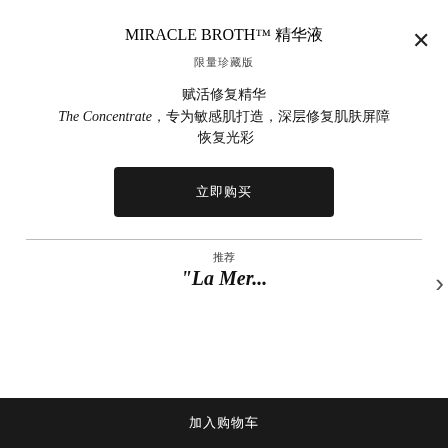MIRACLE BROTH™ 精华液
限量珍藏版
赋活修复精华 The Concentrate，专为敏感肌打造，深层修复肌肤屏障
立即购买
推荐
"La Mer..."
加入购物车